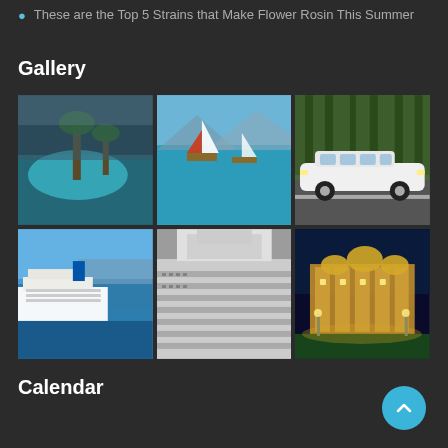These are the Top 5 Strains that Make Flower Rosin This Summer
Gallery
[Figure (photo): A 2×3 gallery grid showing six travel/luxury photos: indoor pool with palm trees, sailboats on turquoise water, white stretch limousine, cruise ships at port (wide view), large cruise ship close-up, illuminated casino/palace building at night.]
Calendar